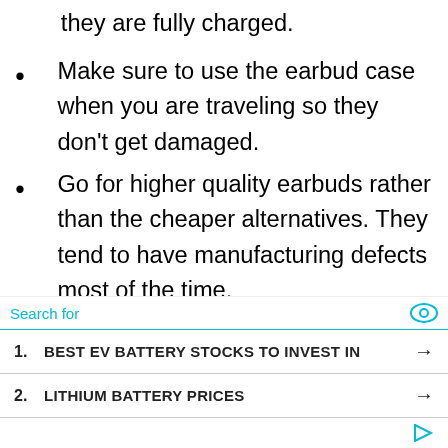they are fully charged.
Make sure to use the earbud case when you are traveling so they don't get damaged.
Go for higher quality earbuds rather than the cheaper alternatives. They tend to have manufacturing defects most of the time.
These are things you can keep in mind to avoid the earbuds explosion ever
[Figure (other): Advertisement overlay with search bar, two sponsored search results: 1. BEST EV BATTERY STOCKS TO INVEST IN, 2. LITHIUM BATTERY PRICES]